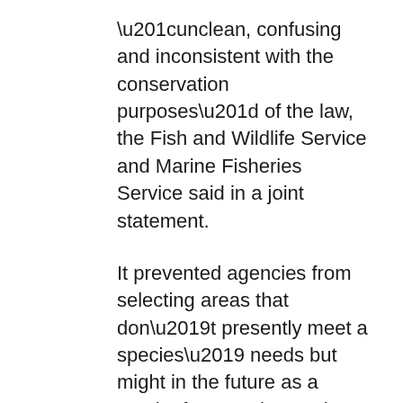“unclean, confusing and inconsistent with the conservation purposes” of the law, the Fish and Wildlife Service and Marine Fisheries Service said in a joint statement.
It prevented agencies from selecting areas that don’t presently meet a species’ needs but might in the future as a result of restoration work or natural changes, the statement said. Global warming is expected to alter many landscapes and waters, attracting species that migrate from places no longer suitable for them.
Habitat degradation and loss is the primary reason animals and plants become endangered, the agencies said, adding that they should be able to designate critical spaces